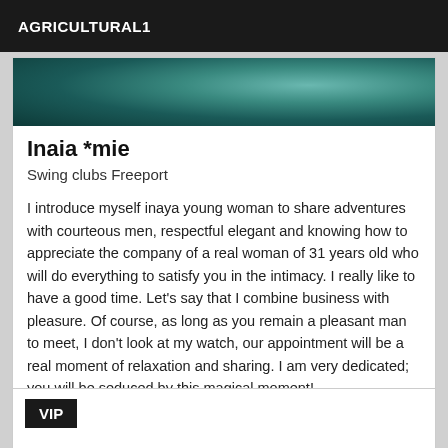AGRICULTURAL1
[Figure (photo): Partial photo showing teal/green blurred background, top of a card listing]
Inaia *mie
Swing clubs Freeport
I introduce myself inaya young woman to share adventures with courteous men, respectful elegant and knowing how to appreciate the company of a real woman of 31 years old who will do everything to satisfy you in the intimacy. I really like to have a good time. Let's say that I combine business with pleasure. Of course, as long as you remain a pleasant man to meet, I don't look at my watch, our appointment will be a real moment of relaxation and sharing. I am very dedicated; you will be seduced by this magical moment!
VIP